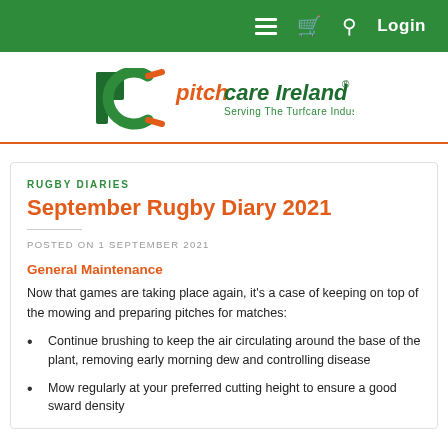Navigation bar with hamburger menu, basket, search, and Login
[Figure (logo): Pitchcare Ireland logo - 'PC' letters in green with orange accent, text reading 'pitchcare Ireland® Serving The Turfcare Industry']
RUGBY DIARIES
September Rugby Diary 2021
POSTED ON 1 SEPTEMBER 2021
General Maintenance
Now that games are taking place again, it's a case of keeping on top of the mowing and preparing pitches for matches:
Continue brushing to keep the air circulating around the base of the plant, removing early morning dew and controlling disease
Mow regularly at your preferred cutting height to ensure a good sward density